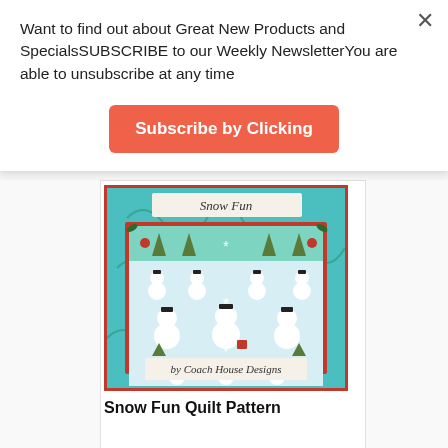Want to find out about Great New Products and SpecialsSUBSCRIBE to our Weekly NewsletterYou are able to unsubscribe at any time
Subscribe by Clicking
[Figure (photo): Snow Fun quilt pattern book cover showing snowmen and Christmas trees on teal fabric background, with red border, titled 'Snow Fun' at top and 'by Coach House Designs' at bottom]
Snow Fun Quilt Pattern